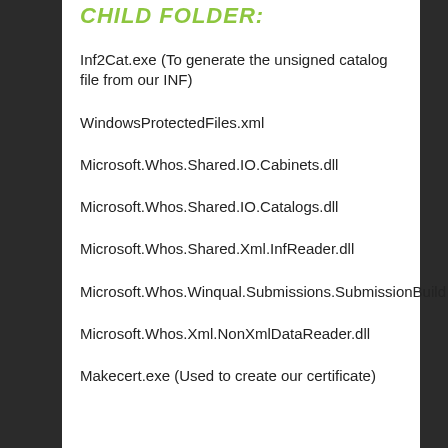CHILD FOLDER:
Inf2Cat.exe (To generate the unsigned catalog file from our INF)
WindowsProtectedFiles.xml
Microsoft.Whos.Shared.IO.Cabinets.dll
Microsoft.Whos.Shared.IO.Catalogs.dll
Microsoft.Whos.Shared.Xml.InfReader.dll
Microsoft.Whos.Winqual.Submissions.SubmissionBuild
Microsoft.Whos.Xml.NonXmlDataReader.dll
Makecert.exe (Used to create our certificate)